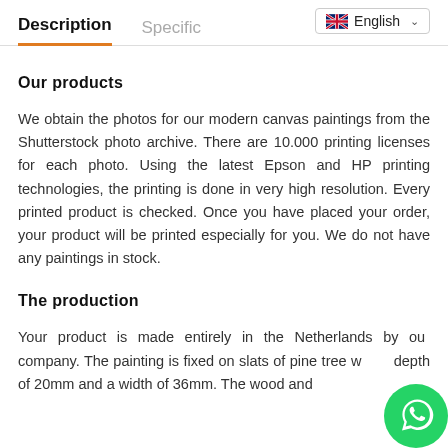Description | Specifications | English
Our products
We obtain the photos for our modern canvas paintings from the Shutterstock photo archive. There are 10.000 printing licenses for each photo. Using the latest Epson and HP printing technologies, the printing is done in very high resolution. Every printed product is checked. Once you have placed your order, your product will be printed especially for you. We do not have any paintings in stock.
The production
Your product is made entirely in the Netherlands by our company. The painting is fixed on slats of pine tree with a depth of 20mm and a width of 36mm. The wood and